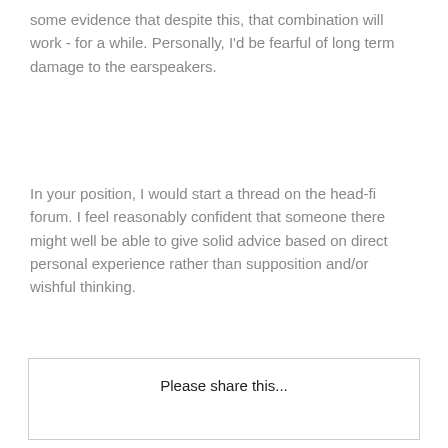some evidence that despite this, that combination will work - for a while. Personally, I'd be fearful of long term damage to the earspeakers.
In your position, I would start a thread on the head-fi forum. I feel reasonably confident that someone there might well be able to give solid advice based on direct personal experience rather than supposition and/or wishful thinking.
Please share this...